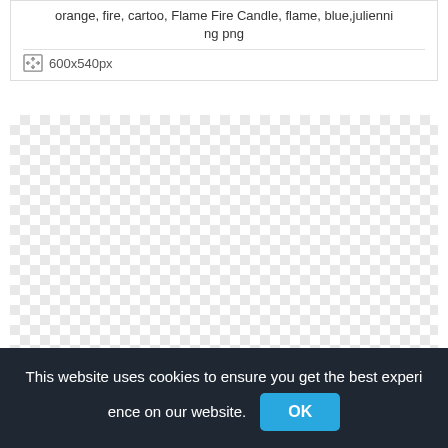orange, fire, cartoo, Flame Fire Candle, flame, blue,julienning png
600x540px
[Figure (other): Transparent/empty checkerboard pattern indicating a PNG image with transparency]
This website uses cookies to ensure you get the best experience on our website.